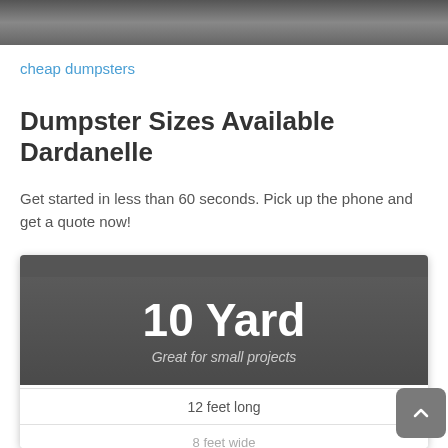[Figure (photo): Partial top image cropped at top of page, dark/reddish scene]
cheap dumpsters
Dumpster Sizes Available Dardanelle
Get started in less than 60 seconds. Pick up the phone and get a quote now!
10 Yard
Great for small projects
12 feet long
8 feet wide